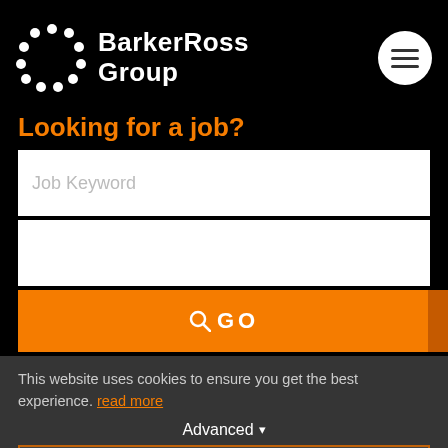[Figure (logo): BarkerRoss Group logo with circular dot pattern and white text on black background]
Looking for a job?
[Figure (screenshot): Job Keyword search input field (white, empty with placeholder)]
[Figure (screenshot): Second search input field (white, empty)]
[Figure (screenshot): Orange GO button with search icon]
This website uses cookies to ensure you get the best experience. read more
Advanced ▾
Got it!